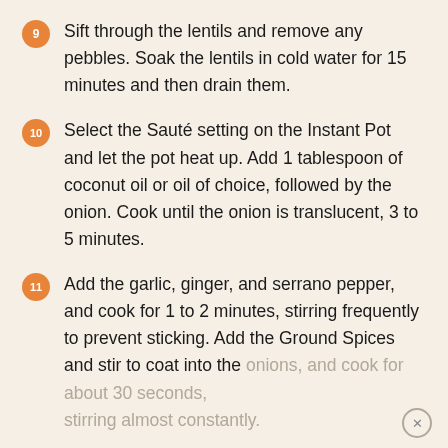9 Sift through the lentils and remove any pebbles. Soak the lentils in cold water for 15 minutes and then drain them.
10 Select the Sauté setting on the Instant Pot and let the pot heat up. Add 1 tablespoon of coconut oil or oil of choice, followed by the onion. Cook until the onion is translucent, 3 to 5 minutes.
11 Add the garlic, ginger, and serrano pepper, and cook for 1 to 2 minutes, stirring frequently to prevent sticking. Add the Ground Spices and stir to coat into the onions, and cook for about 30 seconds, stirring almost constantly.